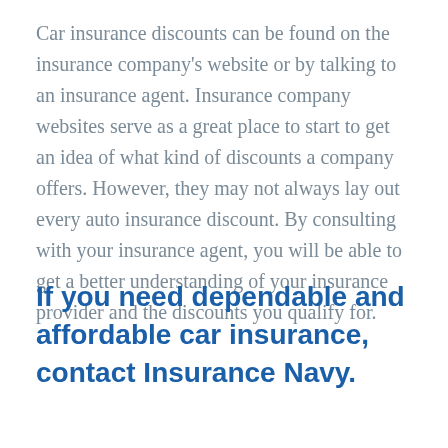Car insurance discounts can be found on the insurance company's website or by talking to an insurance agent. Insurance company websites serve as a great place to start to get an idea of what kind of discounts a company offers. However, they may not always lay out every auto insurance discount. By consulting with your insurance agent, you will be able to get a better understanding of your insurance provider and the discounts you qualify for.
If you need dependable and affordable car insurance, contact Insurance Navy.